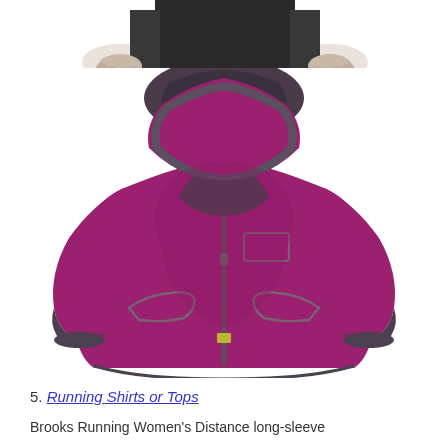[Figure (photo): Top portion of a person wearing black pants/shorts, cropped image showing lower torso and hands.]
[Figure (photo): A magenta/purple women's running jacket with hood, dark gray zipper and trim, by Brooks Running. The jacket is shown on a white background, featuring a full front zip, chest pocket, and fitted silhouette.]
5. Running Shirts or Tops
Brooks Running Women's Distance long-sleeve